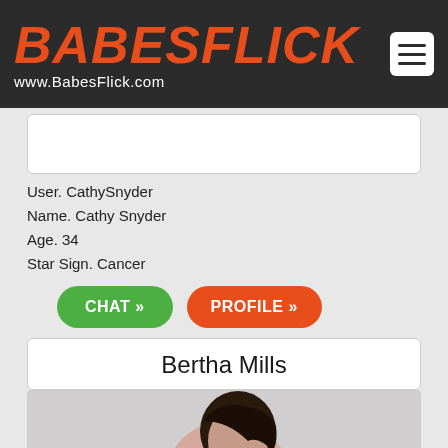BABESFLICK www.BabesFlick.com
User. CathySnyder
Name. Cathy Snyder
Age. 34
Star Sign. Cancer
CHAT »
PROFILE »
Bertha Mills
[Figure (photo): Photo of Bertha Mills, a woman with dark hair wearing a white top and pink outfit, shown from upper body]